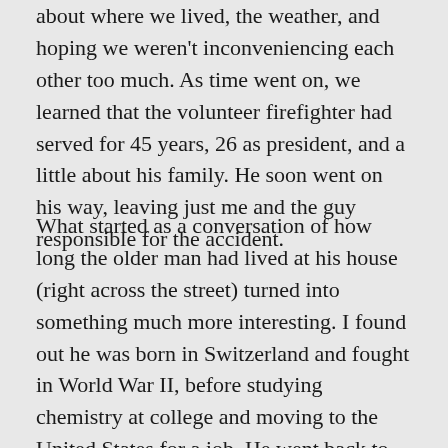about where we lived, the weather, and hoping we weren't inconveniencing each other too much. As time went on, we learned that the volunteer firefighter had served for 45 years, 26 as president, and a little about his family. He soon went on his way, leaving just me and the guy responsible for the accident.
What started as a conversation of how long the older man had lived at his house (right across the street) turned into something much more interesting. I found out he was born in Switzerland and fought in World War II, before studying chemistry at college and moving to the United States for a job. He went back to school and met his wife, then moved to his house in Delaware, in which he has lived for the last 60 years. I wish we hadn't met in those circumstances. But I also wish it hadn't started